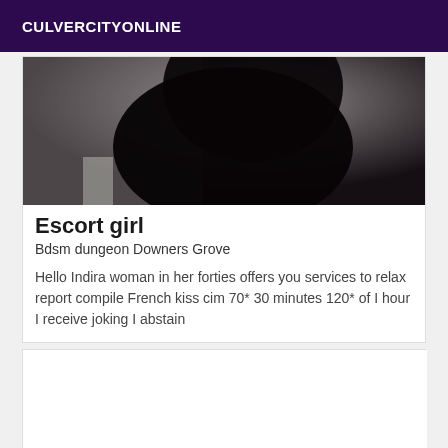CULVERCITYONLINE
[Figure (photo): Dark silhouette photo of a person against a light background]
Escort girl
Bdsm dungeon Downers Grove
Hello Indira woman in her forties offers you services to relax report compile French kiss cim 70* 30 minutes 120* of I hour I receive joking I abstain
[Figure (photo): Second listing card with no visible image content]